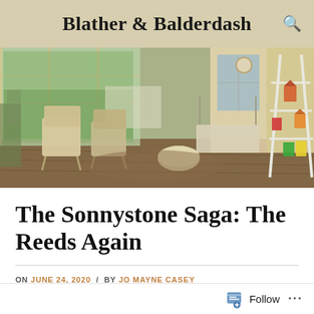Blather & Balderdash
[Figure (photo): A sunny porch with white wicker chairs, a round wicker ottoman, a porch swing, and a white ladder shelf displaying colorful birdhouses. Screened windows in the background show greenery outside.]
The Sonnystone Saga: The Reeds Again
ON JUNE 24, 2020 / BY JO MAYNE CASEY
[Figure (other): Follow button with icon and ellipsis menu at bottom of page]